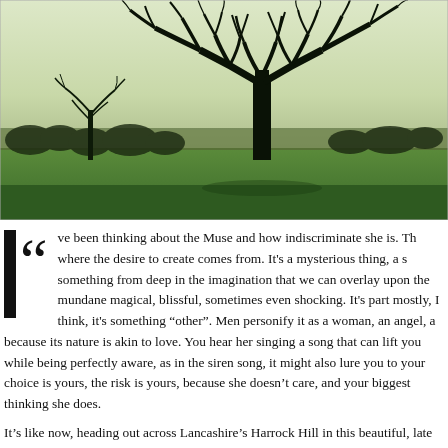[Figure (photo): Winter landscape photo showing a large bare tree in silhouette against a pale sky, with green fields stretching to the horizon and other bare trees in the background. Lancashire countryside scene.]
“I've been thinking about the Muse and how indiscriminate she is. This is where the desire to create comes from. It's a mysterious thing, a song, something from deep in the imagination that we can overlay upon reality, make the mundane magical, blissful, sometimes even shocking. It's partly instinct, mostly, I think, it's something “other”. Men personify it as a woman, an angel, a muse, because its nature is akin to love. You hear her singing a song that can lift you up while being perfectly aware, as in the siren song, it might also lure you to your doom. The choice is yours, the risk is yours, because she doesn’t care, and your biggest mistake is thinking she does.
It’s like now, heading out across Lancashire’s Harrock Hill in this beautiful, late winter’s sun. Winter is a time for trees, for the bare shapes of them against the...